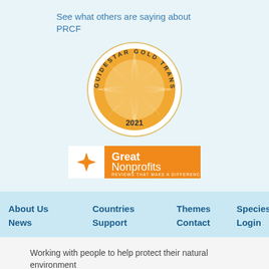See what others are saying about PRCF
[Figure (logo): GuideStar Gold Transparency 2021 seal/badge - circular gold and white badge with star burst in center]
[Figure (logo): GreatNonprofits logo - orange banner with white text reading 'GreatNonprofits REVIEWS THAT MAKE A DIFFERENCE']
About Us
Countries
Themes
Species
News
Support
Contact
Login
Working with people to help protect their natural environment